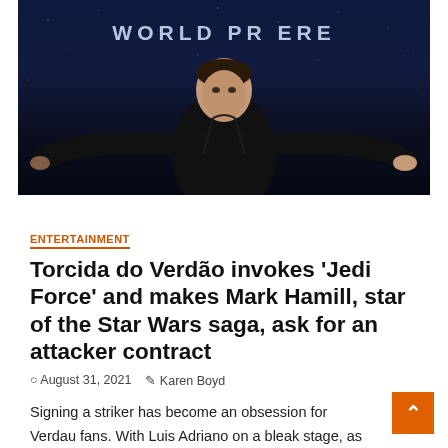[Figure (photo): A man in a black outfit standing on a stage with arms spread wide at a Star Wars World Premiere event. The backdrop shows 'WORLD PREMIERE' text in white letters on a dark blue starfield background.]
ENTERTAINMENT
Torcida do Verdão invokes 'Jedi Force' and makes Mark Hamill, star of the Star Wars saga, ask for an attacker contract
August 31, 2021  Karen Boyd
Signing a striker has become an obsession for Verdau fans. With Luis Adriano on a bleak stage, as well as...